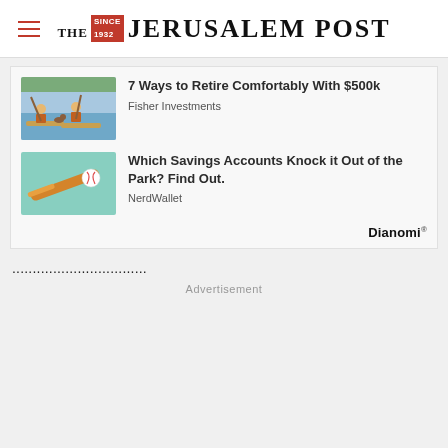THE JERUSALEM POST
[Figure (illustration): Two people paddle-boarding on water with a dog, illustrated style]
7 Ways to Retire Comfortably With $500k
Fisher Investments
[Figure (illustration): Baseball bat hitting a baseball, illustrated style on teal background]
Which Savings Accounts Knock it Out of the Park? Find Out.
NerdWallet
Dianomi
Advertisement